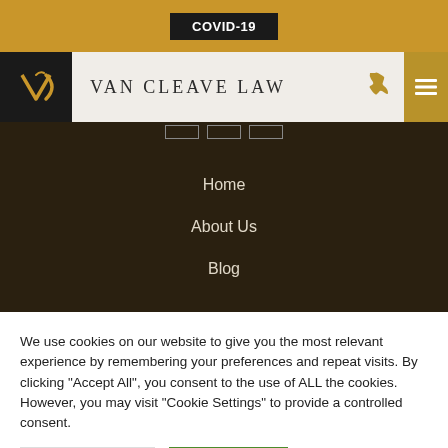COVID-19
VAN CLEAVE LAW
Home
About Us
Blog
We use cookies on our website to give you the most relevant experience by remembering your preferences and repeat visits. By clicking "Accept All", you consent to the use of ALL the cookies. However, you may visit "Cookie Settings" to provide a controlled consent.
Cookie Settings | Accept All